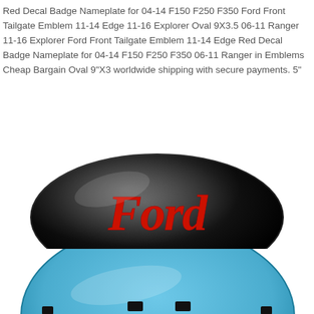Red Decal Badge Nameplate for 04-14 F150 F250 F350 Ford Front Tailgate Emblem 11-14 Edge 11-16 Explorer Oval 9X3.5 06-11 Ranger 11-16 Explorer Ford Front Tailgate Emblem 11-14 Edge Red Decal Badge Nameplate for 04-14 F150 F250 F350 06-11 Ranger in Emblems Cheap Bargain Oval 9"X3 worldwide shipping with secure payments. 5"
[Figure (photo): Black oval Ford emblem badge with red Ford script logo, photographed on white background]
[Figure (photo): Partially visible blue oval Ford emblem badge showing mounting clips on bottom, cropped at page edge]